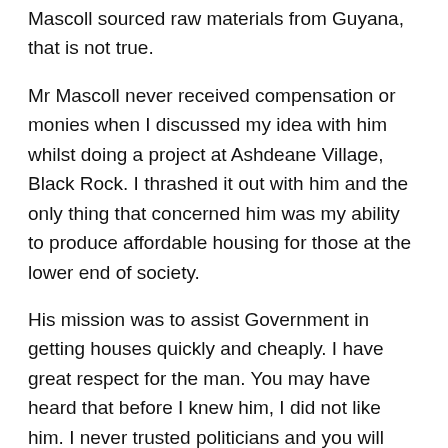Mascoll sourced raw materials from Guyana, that is not true.
Mr Mascoll never received compensation or monies when I discussed my idea with him whilst doing a project at Ashdeane Village, Black Rock. I thrashed it out with him and the only thing that concerned him was my ability to produce affordable housing for those at the lower end of society.
His mission was to assist Government in getting houses quickly and cheaply. I have great respect for the man. You may have heard that before I knew him, I did not like him. I never trusted politicians and you will understand why I felt that way.